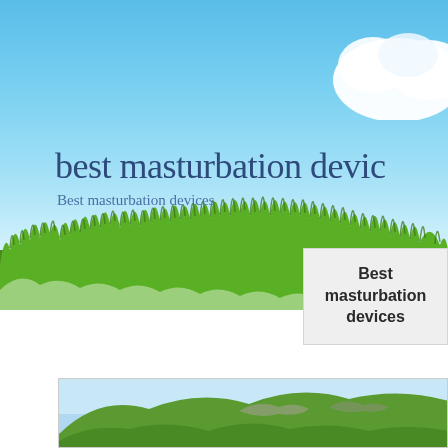[Figure (photo): Website header banner with blue sky, white cloud in upper right, and lush green grass along the bottom. Title text 'best masturbation devic' and subtitle 'Best masturbation devices' overlaid on the sky.]
best masturbation devic
Best masturbation devices
Best masturbation devices
[Figure (photo): Partially visible thumbnail image of green rolling hills under a blue sky, shown in a white-bordered frame.]